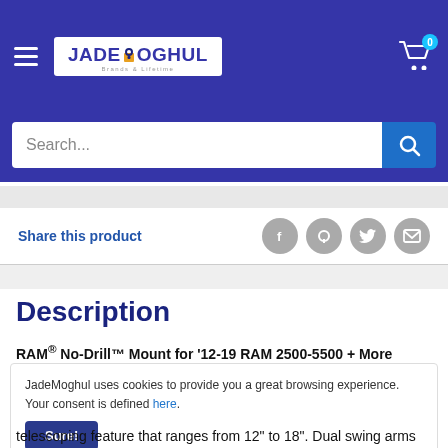JADE MOGHUL — navigation header with logo, hamburger menu, and cart
Search...
Share this product
Description
RAM® No-Drill™ Mount for '12-19 RAM 2500-5500 + More
JadeMoghul uses cookies to provide you a great browsing experience. Your consent is defined here.
telescoping feature that ranges from 12" to 18". Dual swing arms